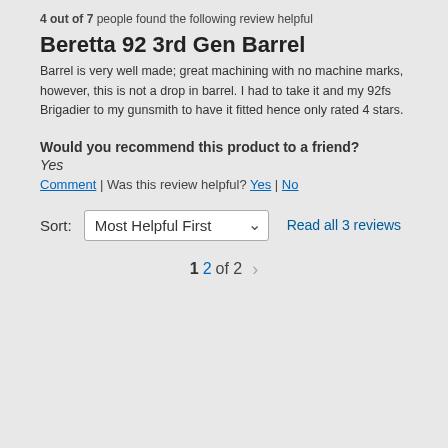4 out of 7 people found the following review helpful
Beretta 92 3rd Gen Barrel
Barrel is very well made; great machining with no machine marks, however, this is not a drop in barrel. I had to take it and my 92fs Brigadier to my gunsmith to have it fitted hence only rated 4 stars.
Would you recommend this product to a friend?
Yes
Comment | Was this review helpful? Yes | No
Sort: Most Helpful First  Read all 3 reviews
1  2  of 2  >